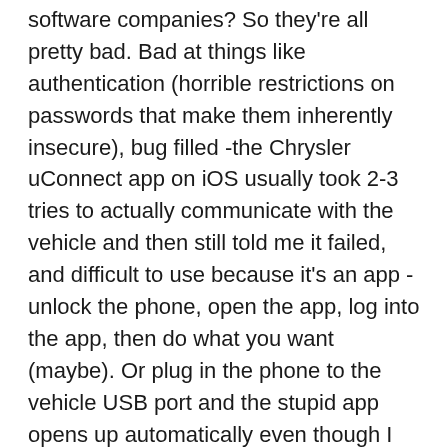software companies? So they're all pretty bad. Bad at things like authentication (horrible restrictions on passwords that make them inherently insecure), bug filled -the Chrysler uConnect app on iOS usually took 2-3 tries to actually communicate with the vehicle and then still told me it failed, and difficult to use because it's an app -unlock the phone, open the app, log into the app, then do what you want (maybe). Or plug in the phone to the vehicle USB port and the stupid app opens up automatically even though I wanted the music app or better yet nothing happening.
This sort of thing always looks so great in the commercials, and if it actually worked that way it would be nice. But we've still got a very long way to go before we can confidently give up on the